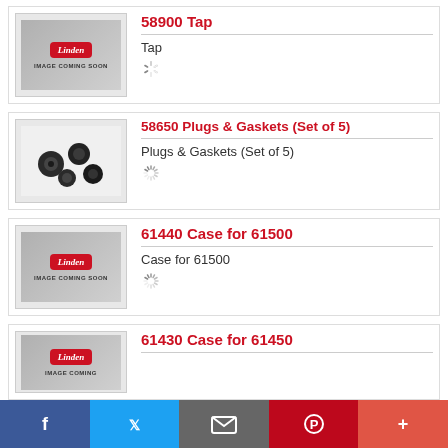58900 Tap
Tap
58650 Plugs & Gaskets (Set of 5)
Plugs & Gaskets (Set of 5)
61440 Case for 61500
Case for 61500
61430 Case for 61450
f  Twitter  Email  Pinterest  +